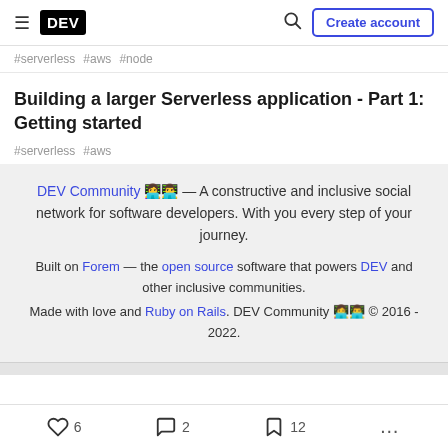DEV — Create account
#serverless #aws #node
Building a larger Serverless application - Part 1: Getting started
#serverless #aws
DEV Community 👩‍💻👨‍💻 — A constructive and inclusive social network for software developers. With you every step of your journey. Built on Forem — the open source software that powers DEV and other inclusive communities. Made with love and Ruby on Rails. DEV Community 👩‍💻👨‍💻 © 2016 - 2022.
6 reactions, 2 comments, 12 saves